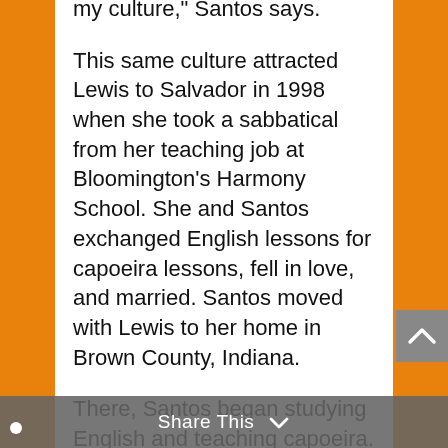my culture," Santos says.
This same culture attracted Lewis to Salvador in 1998 when she took a sabbatical from her teaching job at Bloomington's Harmony School. She and Santos exchanged English lessons for capoeira lessons, fell in love, and married. Santos moved with Lewis to her home in Brown County, Indiana.
There, Santos began studying English and teaching capoeira. He was 24 then and had shoulder-length hair. Now he's 47 and his dreadlocks hang below his knees. “I’m a Rasta,” Santos says. “People ask, ‘How come you’re Rasta? You’re not Jamaican.’ I say, ‘Same way there’s American Buddhists.’”
Initially drawn to Rastafarianism
Share This